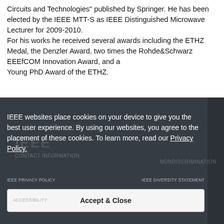Circuits and Technologies" published by Springer. He has been elected by the IEEE MTT-S as IEEE Distinguished Microwave Lecturer for 2009-2010.
For his works he received several awards including the ETHZ Medal, the Denzler Award, two times the Rohde&Schwarz EEEfCOM Innovation Award, and a
Young PhD Award of the ETHZ.
IEEE websites place cookies on your device to give you the best user experience. By using our websites, you agree to the placement of these cookies. To learn more, read our Privacy Policy.
IEEE PRIVACY POLICY
IEEE DIVERSITY STATEMENT
ACCESSIBILITY
Accept & Close